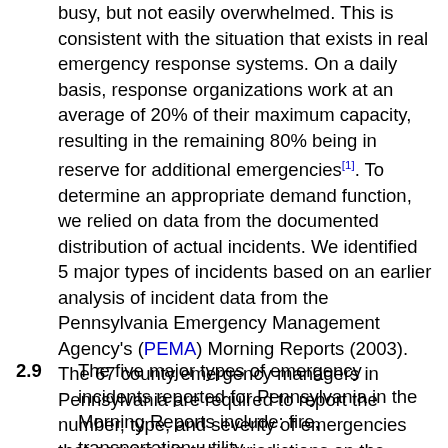busy, but not easily overwhelmed. This is consistent with the situation that exists in real emergency response systems. On a daily basis, response organizations work at an average of 20% of their maximum capacity, resulting in the remaining 80% being in reserve for additional emergencies[1]. To determine an appropriate demand function, we relied on data from the documented distribution of actual incidents. We identified 5 major types of incidents based on an earlier analysis of incident data from the Pennsylvania Emergency Management Agency's (PEMA) Morning Reports (2003). The 67 county emergency managers in Pennsylvania are required to report the number, type, and severity of emergencies that occurred in their jurisdictions on the previous day to the state agency, PEMA. These daily reports offer a statewide source of data for identifying trends, types of incidents, and unusual demands on emergency service organizations for Pennsylvania.
2.9   The five major types of emergency incidents reported for Pennsylvania in the Morning Reports include: fire, transportation, utility...